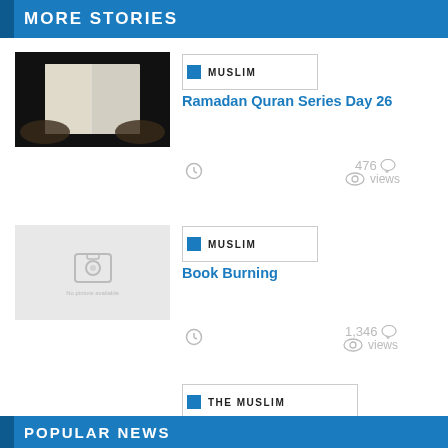MORE STORIES
[Figure (photo): Dark photo of hands holding an open book/Quran]
MUSLIM
Ramadan Quran Series Day 26
476 views
[Figure (photo): Placeholder image with camera icon]
MUSLIM
Book Burning
1,346 views
THE MUSLIM
Serial, Shaky Evidence, and Why
POPULAR NEWS